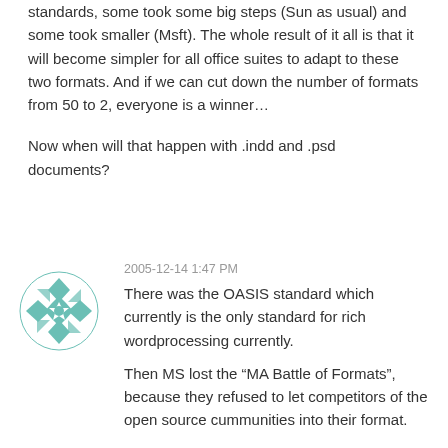standards, some took some big steps (Sun as usual) and some took smaller (Msft). The whole result of it all is that it will become simpler for all office suites to adapt to these two formats. And if we can cut down the number of formats from 50 to 2, everyone is a winner…
Now when will that happen with .indd and .psd documents?
2005-12-14 1:47 PM
[Figure (logo): Teal/green geometric mandala-style avatar icon in a circle]
There was the OASIS standard which currently is the only standard for rich wordprocessing currently.
Then MS lost the “MA Battle of Formats”, because they refused to let competitors of the open source cummunities into their format.
Then MS step by step opens up their format, but in a way which still has